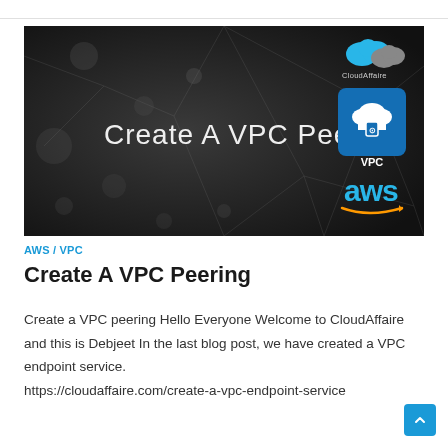[Figure (illustration): Dark-themed hero banner image with network web pattern in the background. Text 'Create A VPC Peering' in white in the center-left. Top-right shows CloudAffaire cloud logo, an AWS VPC cloud shield icon on a blue background, and 'aws' branding in blue.]
AWS / VPC
Create A VPC Peering
Create a VPC peering Hello Everyone Welcome to CloudAffaire and this is Debjeet In the last blog post, we have created a VPC endpoint service. https://cloudaffaire.com/create-a-vpc-endpoint-service